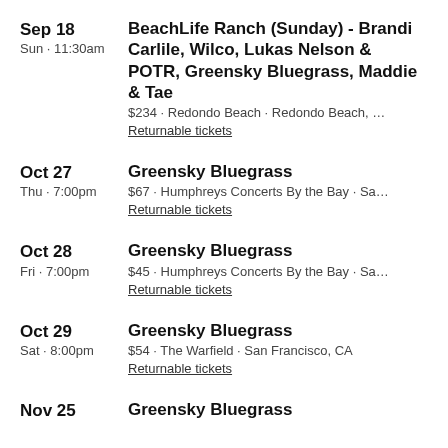Sep 18 | Sun · 11:30am | BeachLife Ranch (Sunday) - Brandi Carlile, Wilco, Lukas Nelson & POTR, Greensky Bluegrass, Maddie & Tae | $234 · Redondo Beach · Redondo Beach, ... | Returnable tickets
Oct 27 | Thu · 7:00pm | Greensky Bluegrass | $67 · Humphreys Concerts By the Bay · Sa... | Returnable tickets
Oct 28 | Fri · 7:00pm | Greensky Bluegrass | $45 · Humphreys Concerts By the Bay · Sa... | Returnable tickets
Oct 29 | Sat · 8:00pm | Greensky Bluegrass | $54 · The Warfield · San Francisco, CA | Returnable tickets
Nov 25 | Greensky Bluegrass